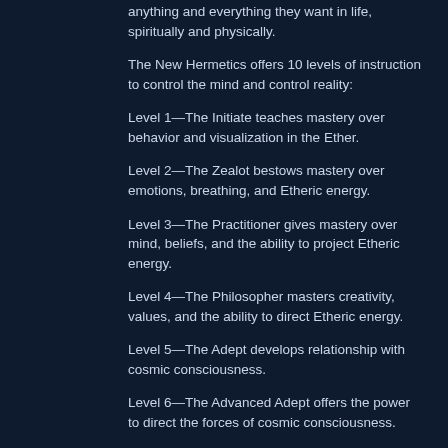anything and everything they want in life, spiritually and physically.
The New Hermetics offers 10 levels of instruction to control the mind and control reality:
Level 1—The Initiate teaches mastery over behavior and visualization in the Ether.
Level 2—The Zealot bestows mastery over emotions, breathing, and Etheric energy.
Level 3—The Practitioner gives mastery over mind, beliefs, and the ability to project Etheric energy.
Level 4—The Philosopher masters creativity, values, and the ability to direct Etheric energy.
Level 5—The Adept develops relationship with cosmic consciousness.
Level 6—The Advanced Adept offers the power to direct the forces of cosmic consciousness.
Level 7—The Perfect Adept gives wisdom and the ability to share these forces with others.
Level 8—The Master bestows mastery of cosmic consciousness.
Level 9—The Mage gains mastery of universal power.
Level 10—The Ultimate Master obtains mastery over...